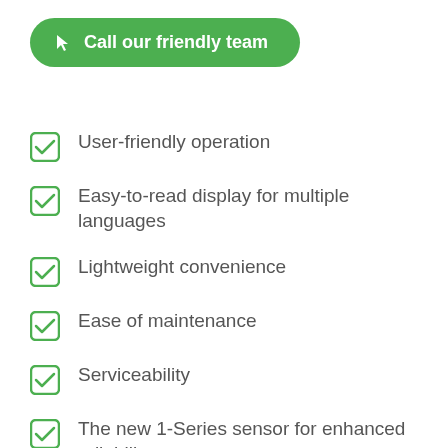[Figure (other): Green rounded button with cursor icon and text 'Call our friendly team']
User-friendly operation
Easy-to-read display for multiple languages
Lightweight convenience
Ease of maintenance
Serviceability
The new 1-Series sensor for enhanced reliability
(partially visible)